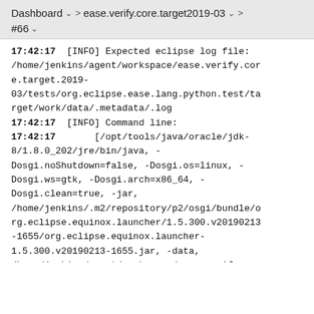Dashboard > ease.verify.core.target2019-03 > #66
17:42:17  [INFO] Expected eclipse log file: /home/jenkins/agent/workspace/ease.verify.core.target.2019-03/tests/org.eclipse.ease.lang.python.test/target/work/data/.metadata/.log
17:42:17  [INFO] Command line:
17:42:17       [/opt/tools/java/oracle/jdk-8/1.8.0_202/jre/bin/java, -Dosgi.noShutdown=false, -Dosgi.os=linux, -Dosgi.ws=gtk, -Dosgi.arch=x86_64, -Dosgi.clean=true, -jar, /home/jenkins/.m2/repository/p2/osgi/bundle/org.eclipse.equinox.launcher/1.5.300.v20190213-1655/org.eclipse.equinox.launcher-1.5.300.v20190213-1655.jar, -data, /home/jenkins/agent/workspace/ease.verify.core.target.2019-03/tests/org.eclipse.ease.lang.python.test/ta